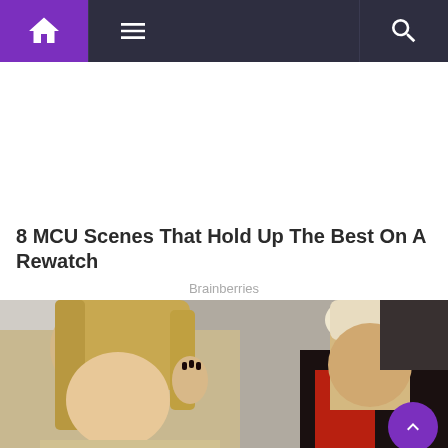Navigation bar with home icon, hamburger menu, and search icon
[Figure (other): White advertisement/blank space area]
8 MCU Scenes That Hold Up The Best On A Rewatch
Brainberries
[Figure (photo): Photo of a blonde woman and a blonde man with short hair wearing a red shirt, leaning close together against a stone wall background]